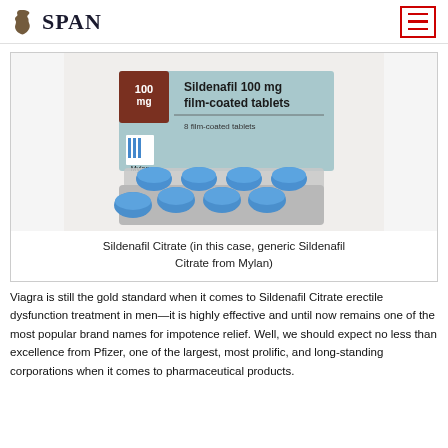SPAN
[Figure (photo): Box of Sildenafil 100 mg film-coated tablets (8 film-coated tablets) by Mylan, with two blister strips of blue round tablets displayed in front of the box.]
Sildenafil Citrate (in this case, generic Sildenafil Citrate from Mylan)
Viagra is still the gold standard when it comes to Sildenafil Citrate erectile dysfunction treatment in men—it is highly effective and until now remains one of the most popular brand names for impotence relief. Well, we should expect no less than excellence from Pfizer, one of the largest, most prolific, and long-standing corporations when it comes to pharmaceutical products.